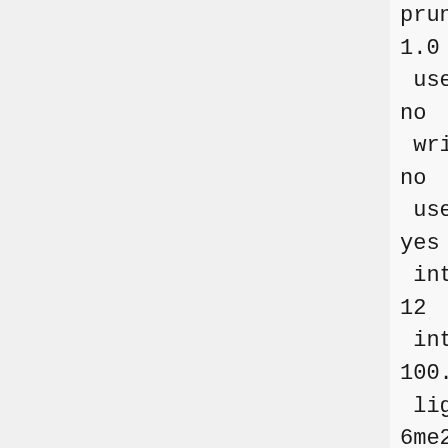pruning_conformer_score_scaling
1.0
 use_clash_overlap
no
 write_growth_tree
no
 use_internal_energy
yes
 internal_energy_rep_exp
12
 internal_energy_cutoff
100.0
 ligand_atom_file
6me2.ligand.min_scored.mol2
 limit_max_ligands
no
 skip_molecule
no
 read_mol_solvation
no
 calculate_rmsd
yes
 use_rmsd_reference_mol
yes
 rmsd_reference_filename